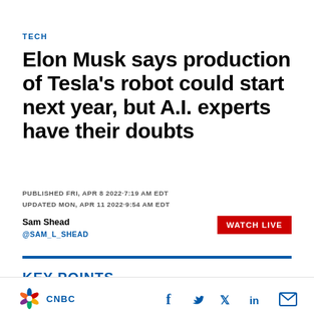TECH
Elon Musk says production of Tesla's robot could start next year, but A.I. experts have their doubts
PUBLISHED FRI, APR 8 2022·7:19 AM EDT
UPDATED MON, APR 11 2022·9:54 AM EDT
Sam Shead
@SAM_L_SHEAD
WATCH LIVE
KEY POINTS
CNBC